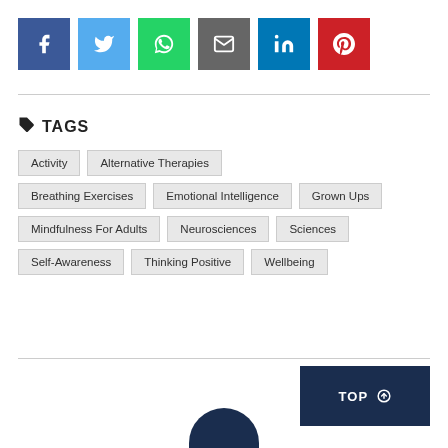[Figure (infographic): Social media sharing buttons: Facebook (blue), Twitter (light blue), WhatsApp (green), Email (gray), LinkedIn (blue), Pinterest (red)]
TAGS
Activity
Alternative Therapies
Breathing Exercises
Emotional Intelligence
Grown Ups
Mindfulness For Adults
Neurosciences
Sciences
Self-Awareness
Thinking Positive
Wellbeing
TOP